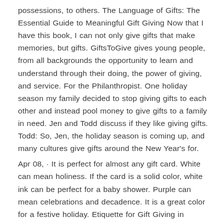possessions, to others. The Language of Gifts: The Essential Guide to Meaningful Gift Giving Now that I have this book, I can not only give gifts that make memories, but gifts. GiftsToGive gives young people, from all backgrounds the opportunity to learn and understand through their doing, the power of giving, and service. For the Philanthropist. One holiday season my family decided to stop giving gifts to each other and instead pool money to give gifts to a family in need. Jen and Todd discuss if they like giving gifts. Todd: So, Jen, the holiday season is coming up, and many cultures give gifts around the New Year's for.
Apr 08,  · It is perfect for almost any gift card. White can mean holiness. If the card is a solid color, white ink can be perfect for a baby shower. Purple can mean celebrations and decadence. It is a great color for a festive holiday. Etiquette for Gift Giving in Japan. The exchange of gifts is